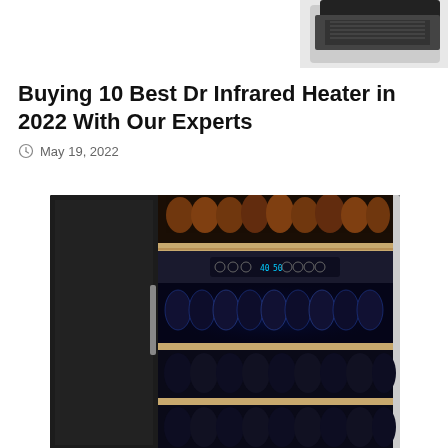[Figure (photo): Partial view of a product (infrared heater or similar device) visible at top-right corner of the page, cropped]
Buying 10 Best Dr Infrared Heater in 2022 With Our Experts
May 19, 2022
[Figure (photo): A dual-zone wine refrigerator/cooler with stainless steel and black door, wooden shelves holding multiple wine bottles, blue LED interior lighting, and a digital control panel displaying temperature settings (40 and 50 degrees).]